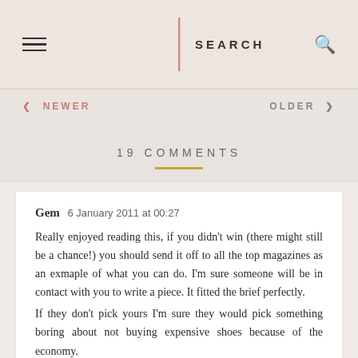SEARCH
‹ NEWER   OLDER ›
19 COMMENTS
Gem 6 January 2011 at 00:27
Really enjoyed reading this, if you didn't win (there might still be a chance!) you should send it off to all the top magazines as an exmaple of what you can do. I'm sure someone will be in contact with you to write a piece. It fitted the brief perfectly.
If they don't pick yours I'm sure they would pick something boring about not buying expensive shoes because of the economy.
xx